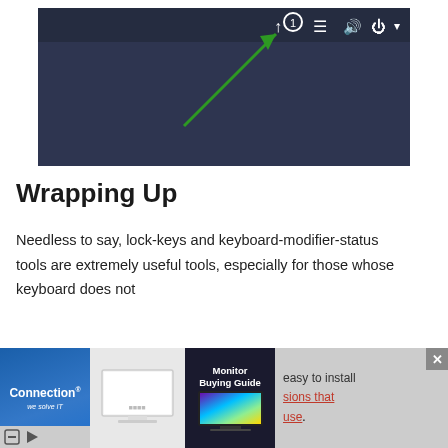[Figure (screenshot): Screenshot of a Linux desktop taskbar/panel showing system tray icons including a keyboard indicator, network, sound, and power icons on a dark blue-gray background, with a green arrow pointing to the keyboard layout indicator icon.]
Wrapping Up
Needless to say, lock-keys and keyboard-modifier-status tools are extremely useful tools, especially for those whose keyboard does not
[Figure (infographic): Advertisement overlay with three panels: left panel with blue background showing 'Connection we solve IT' branding; middle panel showing a monitor product image on light gray background; right panel with dark background showing 'Monitor Buying Guide' with a colorful monitor image. Partial text visible: 'easy to install', 'sions that', 'use.' with links in red.]